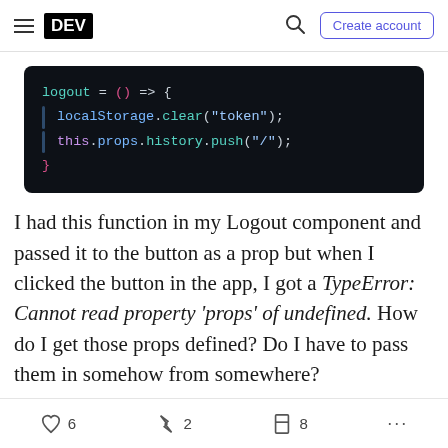DEV | Create account
[Figure (screenshot): Code block on dark background showing JavaScript logout arrow function: logout = () => { localStorage.clear('token'); this.props.history.push('/'); }]
I had this function in my Logout component and passed it to the button as a prop but when I clicked the button in the app, I got a TypeError: Cannot read property 'props' of undefined. How do I get those props defined? Do I have to pass them in somehow from somewhere?

As seems to be usual for me, the answer I wanted
♡ 6   🔥 2   🔖 8   ...